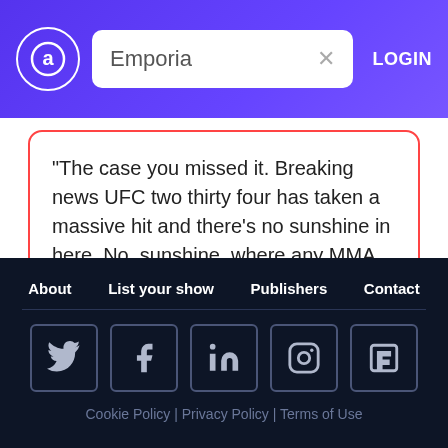Emporia  LOGIN
"The case you missed it. Breaking news UFC two thirty four has taken a massive hit and there's no sunshine in here. No, sunshine, where any MMA fans are especially the ones in...
Robert Whitaker
UFC
Kelvin
Israel
About  List your show  Publishers  Contact  Cookie Policy | Privacy Policy | Terms of Use